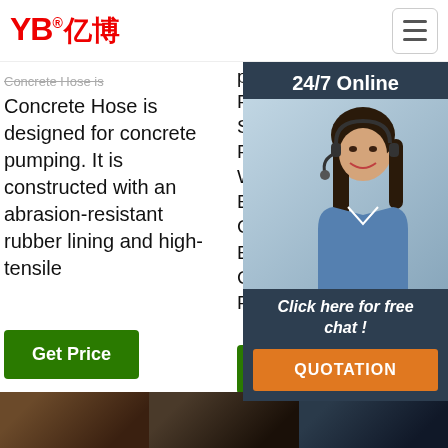[Figure (logo): YB 亿博 logo in red with registered trademark symbol, hamburger menu icon top right]
Concrete Hose is designed for concrete pumping. It is constructed with an abrasion-resistant rubber lining and high-tensile
pump models including Putmeister and Schwing : Concrete Pump Pipes, Clamp, Wear-resistance Elbows, Rubber Hose, Concrete Placing Boom, Piston Ram, Concrete Pump Wear Plate And Wear Ring.
hose and sole distributor for Pri... offe... bes... the
[Figure (photo): Chat widget overlay: 24/7 Online header, photo of woman with headset, Click here for free chat!, QUOTATION orange button]
Get Price
Get Price
[Figure (other): TOP back-to-top button with orange dot arc above and orange TOP text]
[Figure (photo): Bottom image strip with three product photos]